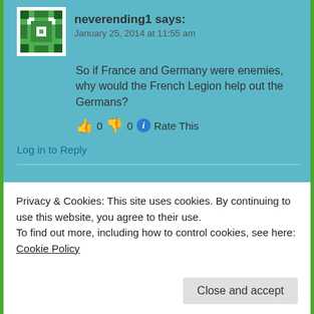[Figure (illustration): Green pixel/geometric avatar icon for user neverending1]
neverending1 says:
January 25, 2014 at 11:55 am
So if France and Germany were enemies, why would the French Legion help out the Germans?
👍 0 👎 0 ℹ Rate This
Log in to Reply
[Figure (illustration): Green pixel/geometric avatar icon for user stopogs]
stopogs says:
January 24, 2014 at 1:06 am
Privacy & Cookies: This site uses cookies. By continuing to use this website, you agree to their use.
To find out more, including how to control cookies, see here: Cookie Policy
Close and accept